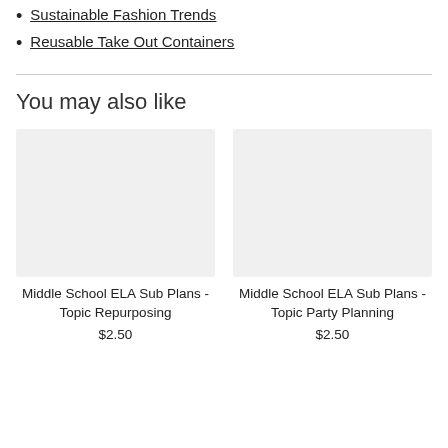Sustainable Fashion Trends
Reusable Take Out Containers
You may also like
[Figure (photo): Blank product image placeholder for Middle School ELA Sub Plans - Topic Repurposing]
Middle School ELA Sub Plans - Topic Repurposing
$2.50
[Figure (photo): Blank product image placeholder for Middle School ELA Sub Plans - Topic Party Planning]
Middle School ELA Sub Plans - Topic Party Planning
$2.50